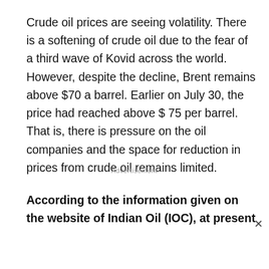Crude oil prices are seeing volatility. There is a softening of crude oil due to the fear of a third wave of Kovid across the world. However, despite the decline, Brent remains above $70 a barrel. Earlier on July 30, the price had reached above $ 75 per barrel. That is, there is pressure on the oil companies and the space for reduction in prices from crude oil remains limited.
- Advertisement -
According to the information given on the website of Indian Oil (IOC), at present